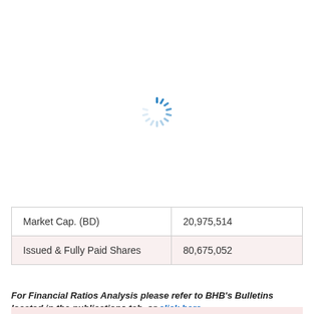[Figure (other): Loading spinner animation — circular spinner with blue dashes arranged in a ring]
| Market Cap. (BD) | 20,975,514 |
| Issued & Fully Paid Shares | 80,675,052 |
For Financial Ratios Analysis please refer to BHB's Bulletins located in the publications tab, or click here